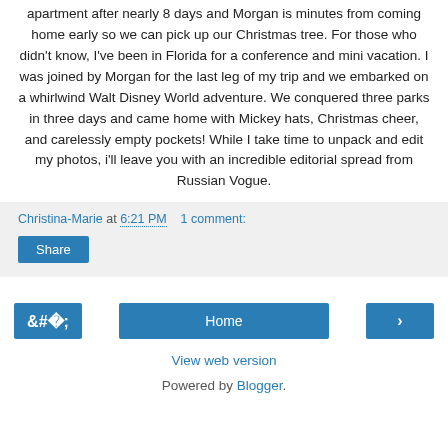apartment after nearly 8 days and Morgan is minutes from coming home early so we can pick up our Christmas tree. For those who didn't know, I've been in Florida for a conference and mini vacation. I was joined by Morgan for the last leg of my trip and we embarked on a whirlwind Walt Disney World adventure. We conquered three parks in three days and came home with Mickey hats, Christmas cheer, and carelessly empty pockets! While I take time to unpack and edit my photos, i'll leave you with an incredible editorial spread from Russian Vogue.
Christina-Marie at 6:21 PM    1 comment:
Share
‹
Home
›
View web version
Powered by Blogger.